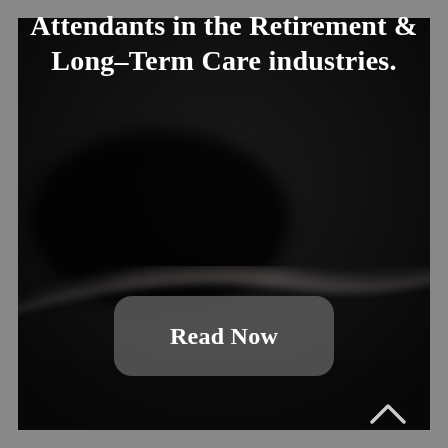[Figure (photo): Dark background image with a subtle curved light streak/reflection, likely a close-up of a dark surface or interior. The image fills most of the page behind the text.]
Attendants in the Retirement & Long-Term Care industries.
Read Now